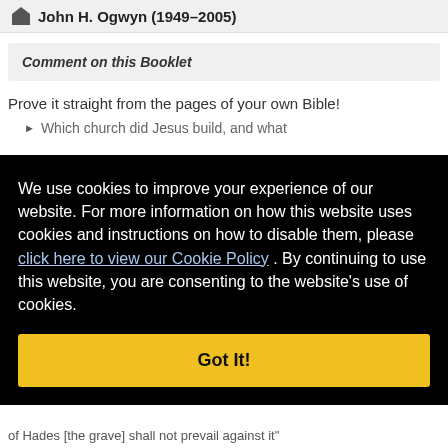John H. Ogwyn (1949–2005)
Comment on this Booklet
Prove it straight from the pages of your own Bible!
Which church did Jesus build, and what
We use cookies to improve your experience of our website. For more information on how this website uses cookies and instructions on how to disable them, please click here to view our Cookie Policy . By continuing to use this website, you are consenting to the website's use of cookies.
Got It!
of Hades [the grave] shall not prevail against it"